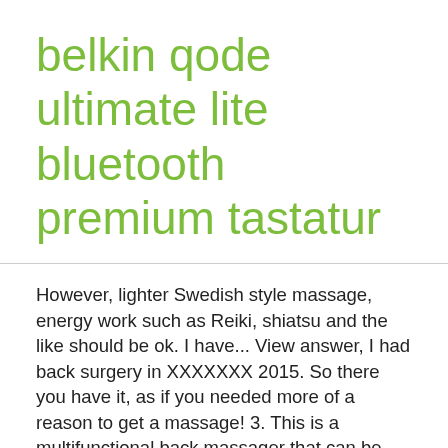belkin qode ultimate lite bluetooth premium tastatur
However, lighter Swedish style massage, energy work such as Reiki, shiatsu and the like should be ok. I have... View answer, I had back surgery in XXXXXXX 2015. So there you have it, as if you needed more of a reason to get a massage! 3. This is a multifunctional back massager that can be used on the lower back, upper back and neck. And if you do find that rare breed of massage therapist who knows both, the cost may be too expensive to go as frequently as you desire. If you do experience muscle soreness, it should abate after a day or so. While in your massage, if you ever feel too